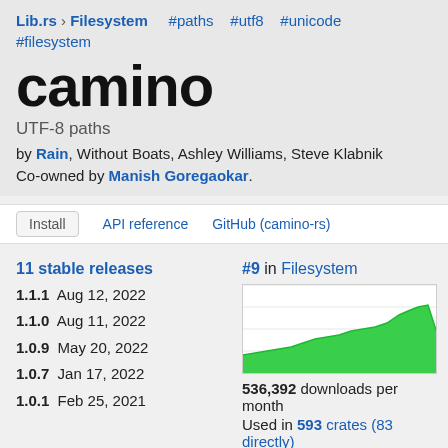Lib.rs › Filesystem   #paths   #utf8   #unicode   #filesystem
camino
UTF-8 paths
by Rain, Without Boats, Ashley Williams, Steve Klabnik Co-owned by Manish Goregaokar.
Install   API reference   GitHub (camino-rs)
11 stable releases
1.1.1  Aug 12, 2022
1.1.0  Aug 11, 2022
1.0.9  May 20, 2022
1.0.7  Jan 17, 2022
1.0.1  Feb 25, 2021
#9 in Filesystem
[Figure (area-chart): Download trend area chart showing growing downloads over time with a green filled area, slight dip at the end]
536,392 downloads per month
Used in 593 crates (83 directly)